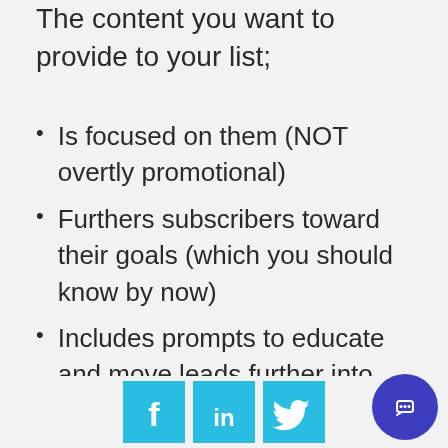The content you want to provide to your list;
Is focused on them (NOT overtly promotional)
Furthers subscribers toward their goals (which you should know by now)
Includes prompts to educate and move leads further into your funnel
So, what types of emails would do the